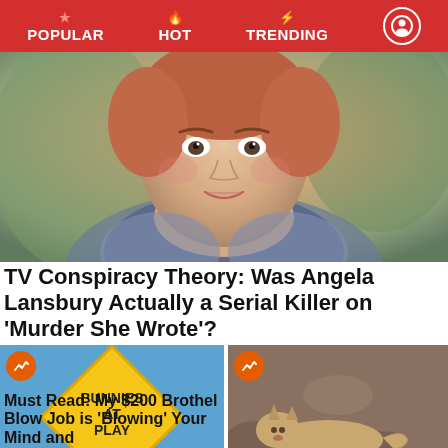POPULAR  HOT  TRENDING
[Figure (photo): Close-up photo of a woman with reddish-brown hair, resembling Angela Lansbury, looking at the camera.]
TV Conspiracy Theory: Was Angela Lansbury Actually a Serial Killer on 'Murder She Wrote'?
[Figure (photo): Yellow diamond-shaped road sign reading 'BUNNIES AT PLAY' against a blue sky.]
[Figure (photo): A mountain lion or large cat walking across rocky desert terrain.]
Must Read: My $200 Brothel Blow Job is 'Blowing' Your Mind and